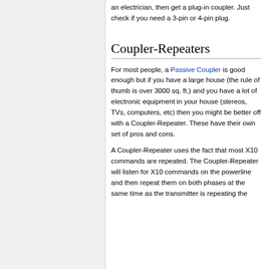an electrician, then get a plug-in coupler. Just check if you need a 3-pin or 4-pin plug.
Coupler-Repeaters
For most people, a Passive Coupler is good enough but if you have a large house (the rule of thumb is over 3000 sq. ft.) and you have a lot of electronic equipment in your house (stereos, TVs, computers, etc) then you might be better off with a Coupler-Repeater. These have their own set of pros and cons.
A Coupler-Repeater uses the fact that most X10 commands are repeated. The Coupler-Repeater will listen for X10 commands on the powerline and then repeat them on both phases at the same time as the transmitter is repeating the